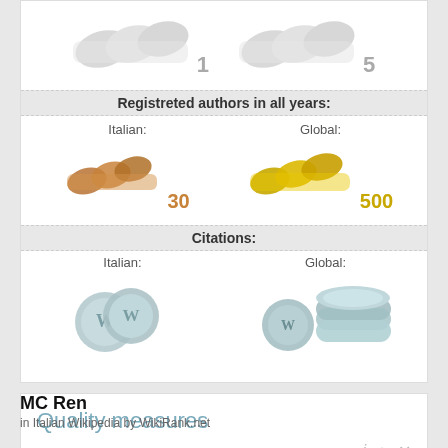[Figure (infographic): Silver wing/award icons with numbers 1 and 5]
Registreted authors in all years:
Italian: 30   Global: 500
[Figure (infographic): Bronze wing icon with number 30 (Italian) and Gold wing icon with number 500 (Global)]
Citations:
Italian:   Global:
[Figure (infographic): Silver coin icons: 2 coins for Italian citations, stack of coins for Global citations]
Quality measures
MC Ren
in Italian Wikipedia by WikiRank.net